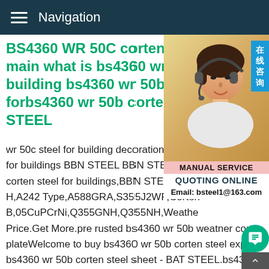Navigation
BS4360 WR 50C corten steel main what is bs4360 wr 50a c building bs4360 wr 50b weath forbs4360 wr 50b corten stee STEEL
[Figure (photo): Woman wearing headset smiling, customer service representative, with Chinese text badge reading 在线咨询 and MANUAL SERVICE / QUOTING ONLINE / Email: bsteel1@163.com panel below]
wr 50c steel for building decoration.BS436 for buildings BBN STEEL BBN STEEL sup corten steel for buildings,BBN STEEL expo H,A242 Type,A588GRA,S355J2WP,Corten B,05CuPCrNi,Q355GNH,Q355NH,Weathe Price.Get More.pre rusted bs4360 wr 50b weatner corten plateWelcome to buy bs4360 wr 50b corten steel exporter for bs4360 wr 50b corten steel sheet - BAT STEEL.bs4360 wr 50b corten steel data sheet for sale.BS4360 WR 50B weather stee data sheet-Corten A,,BS4360 50EE steel plate/sheet,steel pla technical data sheet;BBN offer A36 steel stock Forging Low-ca